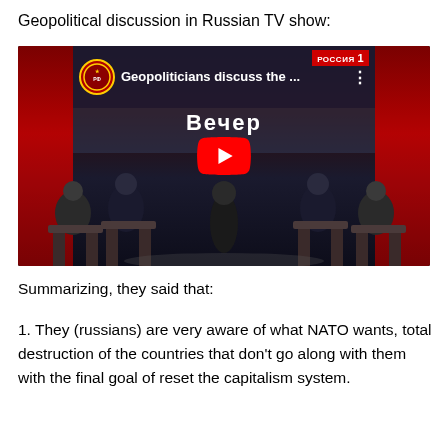Geopolitical discussion in Russian TV show:
[Figure (screenshot): YouTube video thumbnail showing a Russian TV show 'Вечер' (Evening) on Россия 1 channel. The thumbnail shows several panelists seated at desks in a dark studio with red lighting. The title overlay reads 'Geopoliticians discuss the ...' A large red YouTube play button is centered on the image.]
Summarizing, they said that:
1. They (russians) are very aware of what NATO wants, total destruction of the countries that don't go along with them with the final goal of reset the capitalism system.